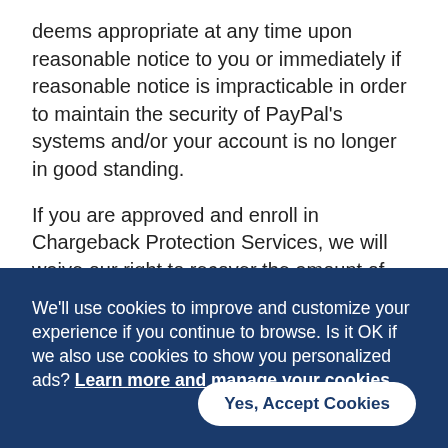deems appropriate at any time upon reasonable notice to you or immediately if reasonable notice is impracticable in order to maintain the security of PayPal's systems and/or your account is no longer in good standing.
If you are approved and enroll in Chargeback Protection Services, we will waive our right to recover the amount of any unauthorized chargeback and item not received chargeback losses made on
We'll use cookies to improve and customize your experience if you continue to browse. Is it OK if we also use cookies to show you personalized ads? Learn more and manage your cookies
Yes, Accept Cookies